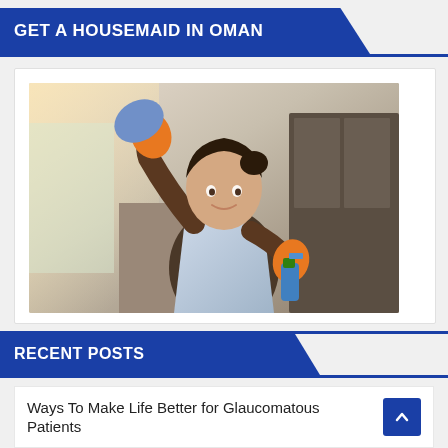GET A HOUSEMAID IN OMAN
[Figure (photo): A housemaid wearing orange rubber gloves and a white apron, wiping a surface with a blue cloth in one hand and holding a blue spray bottle in the other, standing in a kitchen interior.]
RECENT POSTS
Ways To Make Life Better for Glaucomatous Patients